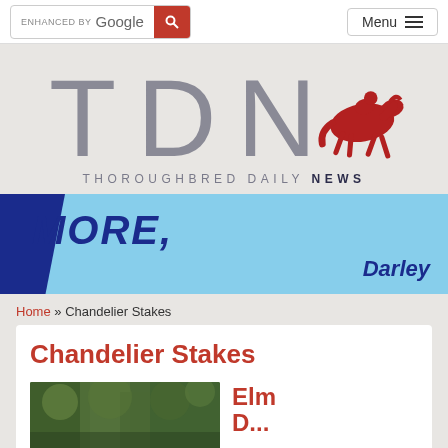ENHANCED BY Google [search] Menu
[Figure (logo): TDN Thoroughbred Daily News logo with red horse and jockey silhouette]
[Figure (infographic): Darley advertisement banner with text MORE, on light blue background]
Home » Chandelier Stakes
Chandelier Stakes
[Figure (photo): Outdoor photo with trees/foliage, green tones]
Elm